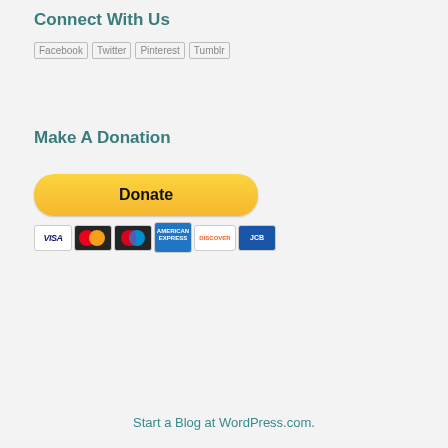Connect With Us
[Figure (other): Social media broken image icons for Facebook, Twitter, Pinterest, and Tumblr]
Make A Donation
[Figure (other): PayPal Donate button with payment card logos: VISA, Mastercard, Maestro, American Express, Discover, JCB]
Start a Blog at WordPress.com.